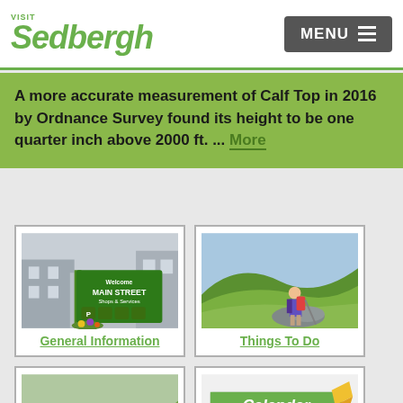VISIT Sedbergh | MENU
A more accurate measurement of Calf Top in 2016 by Ordnance Survey found its height to be one quarter inch above 2000 ft. ... More
[Figure (photo): Green Welcome Main Street sign with shops & services icons, flowers at base, stone buildings behind]
General Information
[Figure (photo): Hiker with backpack and walking poles standing on rocks overlooking green rolling hills]
Things To Do
[Figure (photo): Cyclist on road bike riding through green countryside]
[Figure (photo): Green Calendar book with pencil on white pages showing days of week]